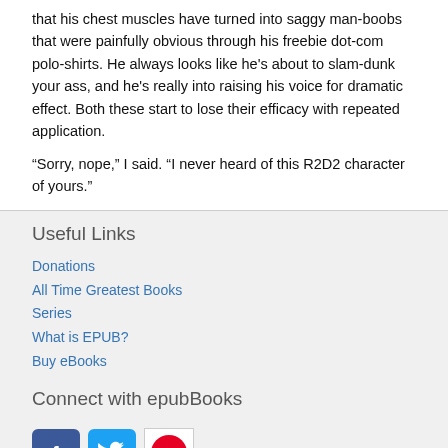that his chest muscles have turned into saggy man-boobs that were painfully obvious through his freebie dot-com polo-shirts. He always looks like he's about to slam-dunk your ass, and he's really into raising his voice for dramatic effect. Both these start to lose their efficacy with repeated application.
“Sorry, nope,” I said. “I never heard of this R2D2 character of yours.”
Useful Links
Donations
All Time Greatest Books
Series
What is EPUB?
Buy eBooks
Connect with epubBooks
[Figure (illustration): Social media icons: Facebook (blue square with 'f'), Twitter (blue bird), Pinterest (white square with red 'p' on circle)]
Company Info
About